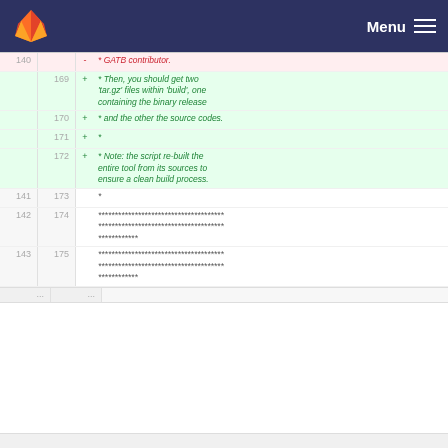GitLab Menu
| old line | new line | sign | code |
| --- | --- | --- | --- |
| 140 |  | - | * GATB contributor. |
|  | 169 | + | * Then, you should get two 'tar.gz' files within 'build', one containing the binary release |
|  | 170 | + | * and the other the source codes. |
|  | 171 | + | * |
|  | 172 | + | * Note: the script re-built the entire tool from its sources to ensure a clean build process. |
| 141 | 173 |   | * |
| 142 | 174 |   | ************************************** ************************************** ************ |
| 143 | 175 |   | ************************************** ************************************** ************ |
| ... | ... |  |  |